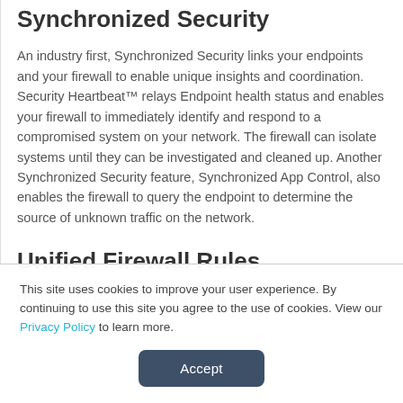Synchronized Security
An industry first, Synchronized Security links your endpoints and your firewall to enable unique insights and coordination. Security Heartbeat™ relays Endpoint health status and enables your firewall to immediately identify and respond to a compromised system on your network. The firewall can isolate systems until they can be investigated and cleaned up. Another Synchronized Security feature, Synchronized App Control, also enables the firewall to query the endpoint to determine the source of unknown traffic on the network.
Unified Firewall Rules
User identity takes enforcement to a whole new layer.
This site uses cookies to improve your user experience. By continuing to use this site you agree to the use of cookies. View our Privacy Policy to learn more.